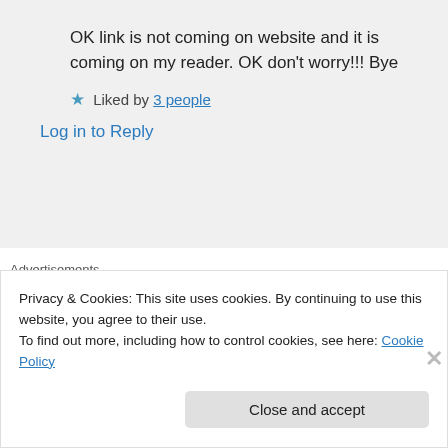OK link is not coming on website and it is coming on my reader. OK don't worry!!! Bye
★ Liked by 3 people
Log in to Reply
Advertisements
[Figure (infographic): WooCommerce banner ad: purple background with WooCommerce logo, teal arrow, text 'How to start selling subscriptions online', orange and blue decorative shapes]
REPORT THIS AD
Privacy & Cookies: This site uses cookies. By continuing to use this website, you agree to their use.
To find out more, including how to control cookies, see here: Cookie Policy
Close and accept